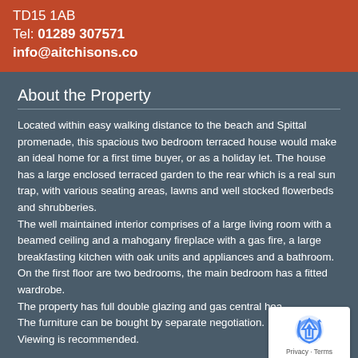TD15 1AB
Tel: 01289 307571
info@aitchisons.co
About the Property
Located within easy walking distance to the beach and Spittal promenade, this spacious two bedroom terraced house would make an ideal home for a first time buyer, or as a holiday let. The house has a large enclosed terraced garden to the rear which is a real sun trap, with various seating areas, lawns and well stocked flowerbeds and shrubberies.
The well maintained interior comprises of a large living room with a beamed ceiling and a mahogany fireplace with a gas fire, a large breakfasting kitchen with oak units and appliances and a bathroom. On the first floor are two bedrooms, the main bedroom has a fitted wardrobe.
The property has full double glazing and gas central hea...
The furniture can be bought by separate negotiation.
Viewing is recommended.